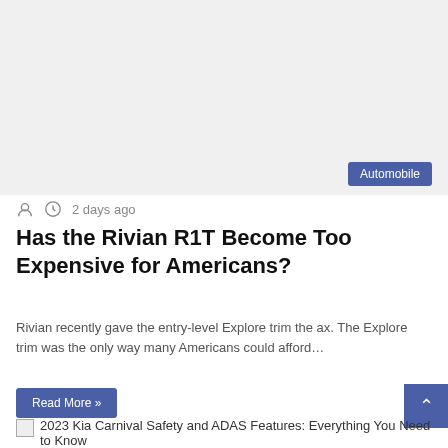[Figure (photo): Large image area at top of article, appears blank/loading]
Automobile
2 days ago
Has the Rivian R1T Become Too Expensive for Americans?
Rivian recently gave the entry-level Explore trim the ax. The Explore trim was the only way many Americans could afford…
Read More »
2023 Kia Carnival Safety and ADAS Features: Everything You Need to Know